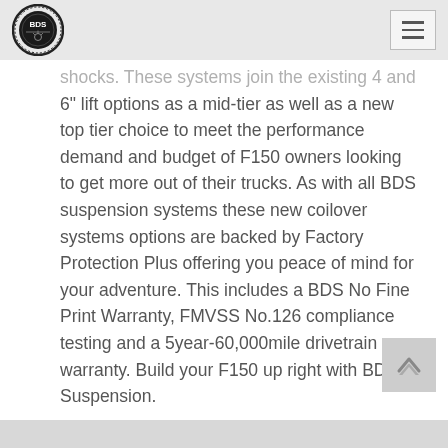BDS Suspension
shocks. These systems join the existing 4 and 6" lift options as a mid-tier as well as a new top tier choice to meet the performance demand and budget of F150 owners looking to get more out of their trucks. As with all BDS suspension systems these new coilover systems options are backed by Factory Protection Plus offering you peace of mind for your adventure. This includes a BDS No Fine Print Warranty, FMVSS No.126 compliance testing and a 5year-60,000mile drivetrain warranty. Build your F150 up right with BDS Suspension.